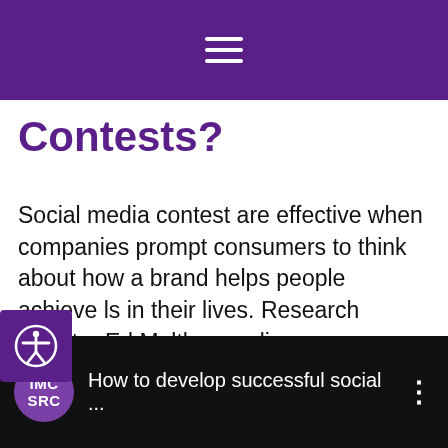☰ (hamburger menu)
Contests?
Social media contest are effective when companies prompt consumers to think about how a brand helps people achieve ls in their lives. Research Director Ed Malthouse discusses insights from Medill Spiegel Research Center's social media contest study.
[Figure (screenshot): Video thumbnail with IMC SRC logo and title 'How to develop successful social ...' with options dots button on dark background]